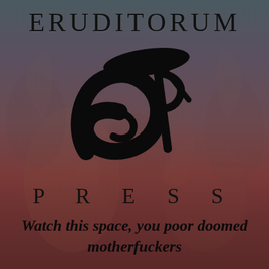[Figure (logo): Eruditorum Press logo page with background illustration of classical figures, featuring the text ERUDITORUM at top, a stylized EP calligraphic logo in the center, the word PRESS below, and the tagline 'Watch this space, you poor doomed motherfuckers' at the bottom.]
ERUDITORUM
PRESS
Watch this space, you poor doomed motherfuckers